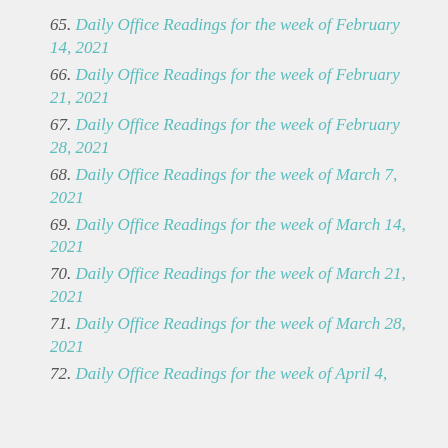65. Daily Office Readings for the week of February 14, 2021
66. Daily Office Readings for the week of February 21, 2021
67. Daily Office Readings for the week of February 28, 2021
68. Daily Office Readings for the week of March 7, 2021
69. Daily Office Readings for the week of March 14, 2021
70. Daily Office Readings for the week of March 21, 2021
71. Daily Office Readings for the week of March 28, 2021
72. Daily Office Readings for the week of April 4,